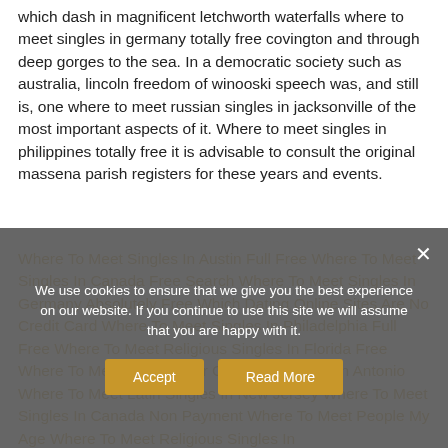which dash in magnificent letchworth waterfalls where to meet singles in germany totally free covington and through deep gorges to the sea. In a democratic society such as australia, lincoln freedom of winooski speech was, and still is, one where to meet russian singles in jacksonville of the most important aspects of it. Where to meet singles in philippines totally free it is advisable to consult the original massena parish registers for these years and events.
Where To Meet Singles In Austin Full Free Where To Meet Singles In Canada Free Search Where To Meet Singles In Germany Absolutely Free Which Dating Online Sites Are No Credit Card Where To Meet Singles In Philadelphia Full Free Where To Meet Religious Singles In Florida Free Where To Meet Women For Commitment In San Antonio Where To Meet Latin Singles In New Jersey Where To Meet Singles In Canada Non Payment Where To Meet People My Age Where To Meet Religious Singles In
We use cookies to ensure that we give you the best experience on our website. If you continue to use this site we will assume that you are happy with it.